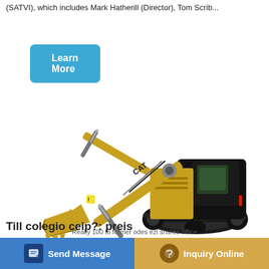(SATVI), which includes Mark Hatherill (Director), Tom Scrib...
[Figure (illustration): Learn More button - teal/blue rounded rectangle with white bold text 'Learn More']
[Figure (photo): CAT excavator (yellow and black hydraulic excavator) facing left, on white background, with CAT branding visible on boom and body]
Till colegio ceip?: preis
[Figure (screenshot): Bottom bar with two buttons: 'Send Message' (blue) with document icon on left, and 'Inquiry Online' (golden/tan) with headset icon on right]
Really 100 to former odes ezl shares office